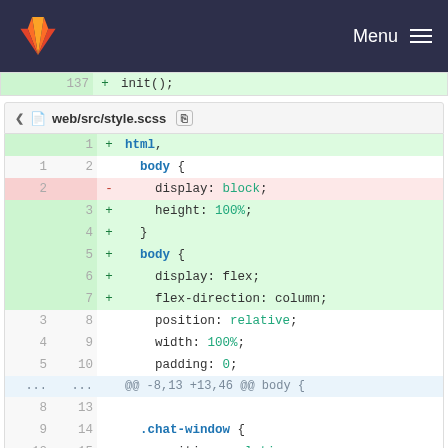[Figure (screenshot): GitLab navigation bar with orange fox logo and Menu hamburger icon on dark navy background]
137   + init();
web/src/style.scss
1  + html,
1  2    body {
2       -    display: block;
   3  +    height: 100%;
   4  + }
   5  + body {
   6  +    display: flex;
   7  +    flex-direction: column;
3  8       position: relative;
4  9       width: 100%;
5  10      padding: 0;
...  ...  @@ -8,13 +13,46 @@ body {
8  13
9  14      .chat-window {
10 15      position: relative;
11     -   border: 2px solid black;